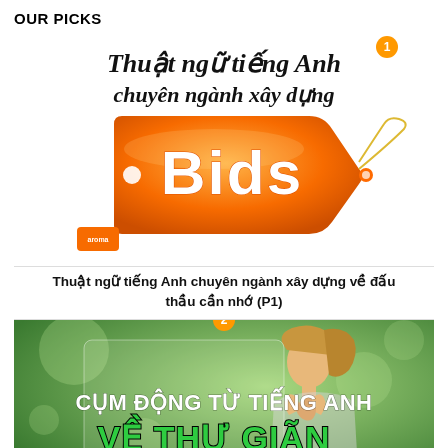OUR PICKS
[Figure (illustration): Book cover / app image for 'Thuật ngữ tiếng Anh chuyên ngành xây dựng' featuring an orange price-tag shape with 'Bids' written in white, and an Aroma publisher logo. A numbered orange badge '1' appears at top right.]
Thuật ngữ tiếng Anh chuyên ngành xây dựng về đấu thầu cần nhớ (P1)
[Figure (photo): Promotional banner image with green bokeh background and a person looking upward with praying hands. Text overlay reads 'CỤM ĐỘNG TỪ TIẾNG ANH' in white bold uppercase and 'VỀ THƯ GIÃN' in large green bold uppercase. Orange badge '2' at top center. Scroll-up arrow button at bottom right.]